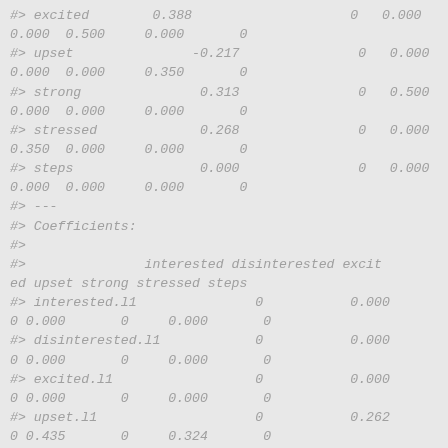#> excited        0.388                    0   0.000
0.000  0.500     0.000       0
#> upset               -0.217               0   0.000
0.000  0.000     0.350       0
#> strong               0.313               0   0.500
0.000  0.000     0.000       0
#> stressed             0.268               0   0.000
0.350  0.000     0.000       0
#> steps                0.000               0   0.000
0.000  0.000     0.000       0
#> ---
#> Coefficients:
#>
#>               interested disinterested excit
ed upset strong stressed steps
#> interested.l1               0           0.000
0 0.000       0     0.000       0
#> disinterested.l1            0           0.000
0 0.000       0     0.000       0
#> excited.l1                  0           0.000
0 0.000       0     0.000       0
#> upset.l1                    0           0.262
0 0.435       0     0.324       0
#> strong.l1                   0           0.000
0 0.000       0     0.000       0